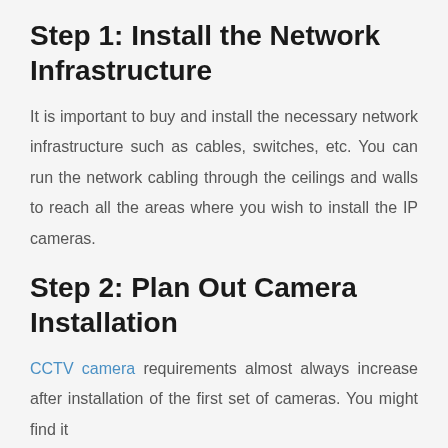Step 1: Install the Network Infrastructure
It is important to buy and install the necessary network infrastructure such as cables, switches, etc. You can run the network cabling through the ceilings and walls to reach all the areas where you wish to install the IP cameras.
Step 2: Plan Out Camera Installation
CCTV camera requirements almost always increase after installation of the first set of cameras. You might find it